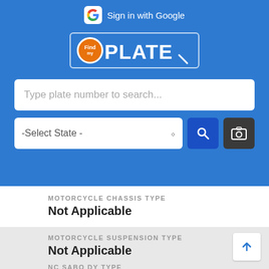[Figure (screenshot): FindPlate app header with blue background showing Google sign-in button, FindPlate logo, search bar for plate number, state selector dropdown, search button, and camera button]
Sign in with Google
PLATE
Type plate number to search...
-Select State -
MOTORCYCLE CHASSIS TYPE
Not Applicable
MOTORCYCLE SUSPENSION TYPE
Not Applicable
NC SABO DY TYPE
4-door sedan, hardtop